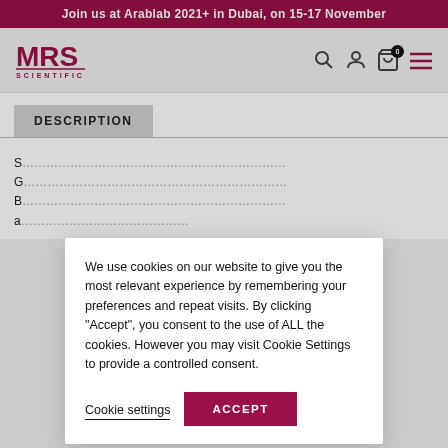Join us at Arablab 2021+ in Dubai, on 15-17 November
[Figure (logo): MRS Scientific logo with red text]
DESCRIPTION
We use cookies on our website to give you the most relevant experience by remembering your preferences and repeat visits. By clicking “Accept”, you consent to the use of ALL the cookies. However you may visit Cookie Settings to provide a controlled consent.
Cookie settings
ACCEPT